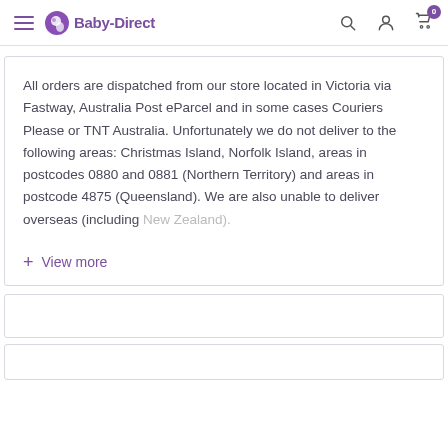Baby-Direct [navigation header with hamburger menu, logo, search, account, and cart icons]
All orders are dispatched from our store located in Victoria via Fastway, Australia Post eParcel and in some cases Couriers Please or TNT Australia. Unfortunately we do not deliver to the following areas: Christmas Island, Norfolk Island, areas in postcodes 0880 and 0881 (Northern Territory) and areas in postcode 4875 (Queensland). We are also unable to deliver overseas (including New Zealand).
+ View more